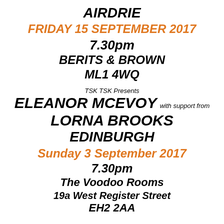AIRDRIE
FRIDAY 15 SEPTEMBER 2017
7.30pm
BERITS & BROWN
ML1 4WQ
TSK TSK Presents
ELEANOR MCEVOY with support from
LORNA BROOKS
EDINBURGH
Sunday 3 September 2017
7.30pm
The Voodoo Rooms
19a West Register Street
EH2 2AA